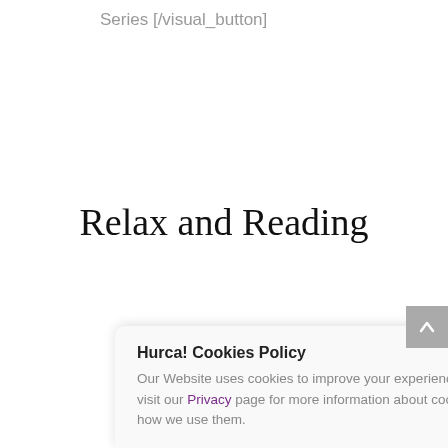Series [/visual_button]
Relax and Reading
[Figure (illustration): A stylized illustration of a person with a teal/cyan head sitting and reading a red book, wearing a red shirt, with a teal chair or cushion behind them.]
Hurca! Cookies Policy
Our Website uses cookies to improve your experience. Please visit our Privacy page for more information about cookies and how we use them.